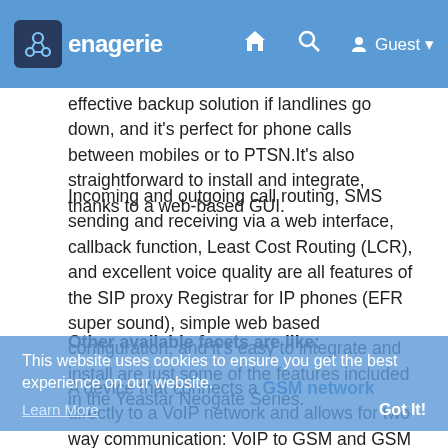Menagerie  [home icon] [search icon]  Guest
effective backup solution if landlines go down, and it's perfect for phone calls between mobiles or to PTSN.It's also straightforward to install and integrate, thanks to a web-based GUI.
Incoming and outgoing call routing, SMS sending and receiving via a web interface, callback function, Least Cost Routing (LCR), and excellent voice quality are all features of the SIP proxy Registrar for IP phones (EFR super sound), simple web based configuration, and it's easy to integrate and install are just some of the features included in the Yeastar Neogate Series.
Other available facets are like:
A device that connects a GSM network  directly to a VoIP network and allows for two-way communication: VoIP to GSM and GSM to VoIP. This is the best solution to connect IP based
This website uses cookies to ensure you get the best experience on our website.
Learn More
Got It!